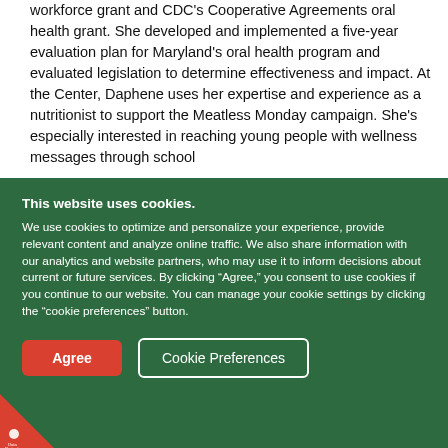workforce grant and CDC's Cooperative Agreements oral health grant. She developed and implemented a five-year evaluation plan for Maryland's oral health program and evaluated legislation to determine effectiveness and impact. At the Center, Daphene uses her expertise and experience as a nutritionist to support the Meatless Monday campaign. She's especially interested in reaching young people with wellness messages through school
This website uses cookies.
We use cookies to optimize and personalize your experience, provide relevant content and analyze online traffic. We also share information with our analytics and website partners, who may use it to inform decisions about current or future services. By clicking "Agree," you consent to use cookies if you continue to our website. You can manage your cookie settings by clicking the "cookie preferences" button.
Agree
Cookie Preferences